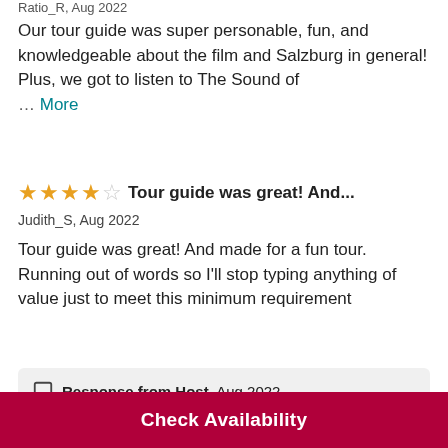Ratio_R, Aug 2022
Our tour guide was super personable, fun, and knowledgeable about the film and Salzburg in general! Plus, we got to listen to The Sound of … More
Tour guide was great! And...
Judith_S, Aug 2022
Tour guide was great! And made for a fun tour. Running out of words so I'll stop typing anything of value just to meet this minimum requirement
Response from Host, Aug 2022
Thank you for your review!
Check Availability